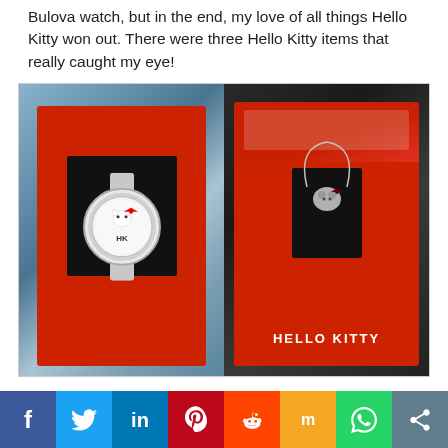Bulova watch, but in the end, my love of all things Hello Kitty won out. There were three Hello Kitty items that really caught my eye!
[Figure (photo): Two photos side by side: left shows a Hello Kitty branded silver watch with crystal bezel in a red gift box; right shows a Hello Kitty necklace with a crystal Hello Kitty pendant displayed in a red HELLO KITTY branded gift box.]
Social sharing bar with icons: Facebook, Twitter, LinkedIn, Pinterest, Reddit, Mix, WhatsApp, Share